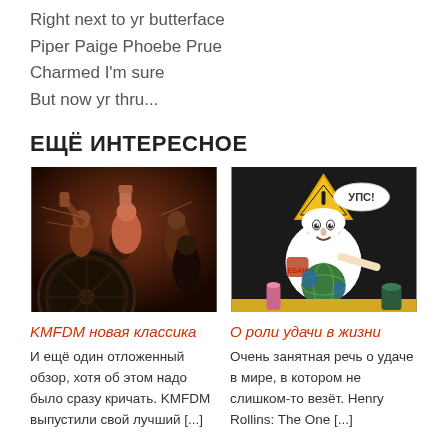Right next to yr butterface
Piper Paige Phoebe Prue
Charmed I'm sure
But now yr thru...
ЕЩЁ ИНТЕРЕСНОЕ
[Figure (illustration): Comic-style illustration of armed militant figures with raised fists, dark industrial background with wheel]
[Figure (illustration): Cartoon illustration of an elderly bearded man (God-like figure) holding a globe, with a triangle warning sign and text 'УПС!' above]
KMFDM новая классика
О роли удачи в жизни
И ещё один отложенный обзор, хотя об этом надо было сразу кричать. KMFDM выпустили свой лучший [...]
Очень занятная речь о удаче в мире, в котором не слишком-то везёт. Henry Rollins: The One [...]